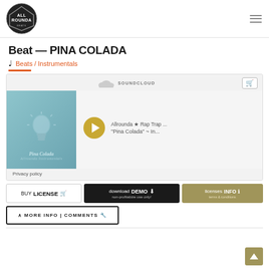Allrounda logo and navigation menu
Beat — PINA COLADA
♩ Beats / Instrumentals
[Figure (screenshot): SoundCloud embedded player showing 'Allrounda ★ Rap Trap ...' and '"Pina Colada" ~ In...' with album art, play button, and cart icon. Privacy policy link at bottom.]
BUY LICENSE 🛒
download DEMO ⬇ non-profitabize use only!
licenses INFO ℹ terms & conditions
∧ MORE INFO | COMMENTS 🔧